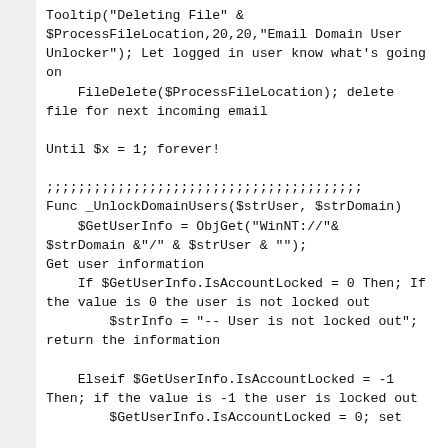Tooltip("Deleting File" &amp; $ProcessFileLocation,20,20,"Email Domain User Unlocker"); Let logged in user know what's going on
    FileDelete($ProcessFileLocation); delete file for next incoming email

Until $x = 1; forever!

;;;;;;;;;;;;;;;;;;;;;;;;;;;;;;;;;;;;;;;;
Func _UnlockDomainUsers($strUser, $strDomain)
    $GetUserInfo = ObjGet("WinNT://"&amp;$strDomain &amp;"/" &amp; $strUser &amp; ""); Get user information
    If $GetUserInfo.IsAccountLocked = 0 Then; If the value is 0 the user is not locked out
        $strInfo = "-- User is not locked out"; return the information

    Elseif $GetUserInfo.IsAccountLocked = -1 Then; if the value is -1 the user is locked out
        $GetUserInfo.IsAccountLocked = 0; set